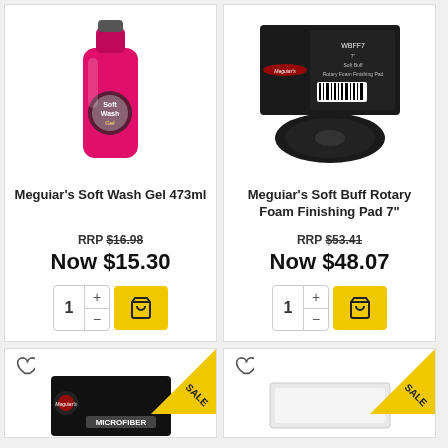[Figure (photo): Meguiar's Soft Wash Gel 473ml pink bottle product image]
Meguiar's Soft Wash Gel 473ml
RRP $16.98
Now $15.30
[Figure (photo): Meguiar's Soft Buff Rotary Foam Finishing Pad 7 inch product image]
Meguiar's Soft Buff Rotary Foam Finishing Pad 7"
RRP $53.41
Now $48.07
[Figure (photo): Meguiar's Microfiber product partial image with SALE badge]
[Figure (photo): White product partial image with SALE badge]